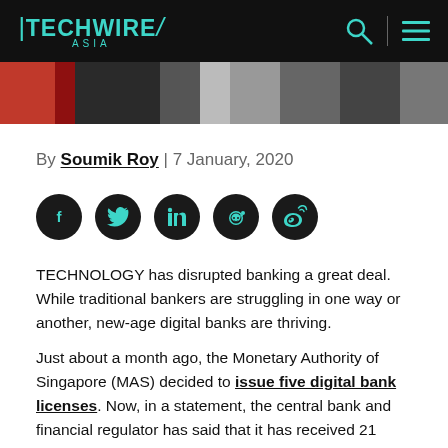TECHWIRE ASIA
[Figure (photo): Partial view of a photo showing red and dark colored objects on a light surface]
By Soumik Roy | 7 January, 2020
[Figure (infographic): Row of five social media icon circles (dark/black): Facebook, Twitter, LinkedIn, Reddit, Weibo]
TECHNOLOGY has disrupted banking a great deal. While traditional bankers are struggling in one way or another, new-age digital banks are thriving.
Just about a month ago, the Monetary Authority of Singapore (MAS) decided to issue five digital bank licenses. Now, in a statement, the central bank and financial regulator has said that it has received 21